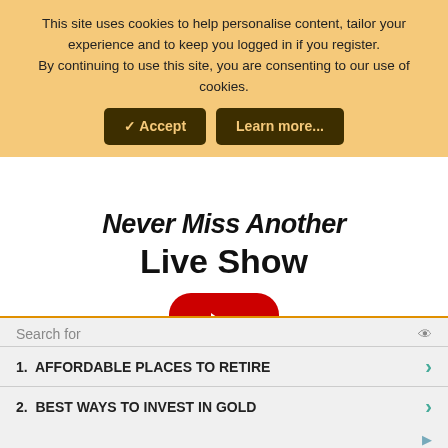This site uses cookies to help personalise content, tailor your experience and to keep you logged in if you register.
By continuing to use this site, you are consenting to our use of cookies.
✓ Accept | Learn more...
Never Miss Another Live Show
[Figure (logo): YouTube-style red play button icon (rounded red square with white triangle)]
Subscribe to Websleuths Live Now!
Search for
1. AFFORDABLE PLACES TO RETIRE
2. BEST WAYS TO INVEST IN GOLD